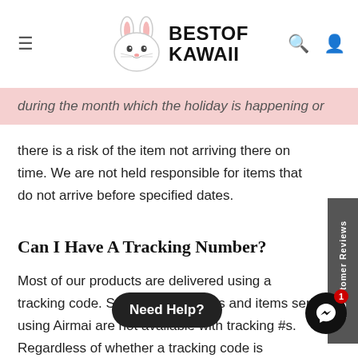Best Of Kawaii — navigation header with logo
during the month which the holiday is happening or
there is a risk of the item not arriving there on time. We are not held responsible for items that do not arrive before specified dates.
Can I Have A Tracking Number?
Most of our products are delivered using a tracking code. Some smaller items and items sent using Airmail are not available with tracking #s. Regardless of whether a tracking code is available for your specific order, we do offer a 100% sati[sfaction guarantee on our] orders. That means no risk. We have you completely